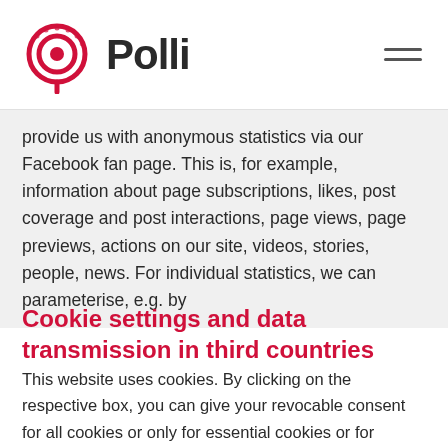Polli
provide us with anonymous statistics via our Facebook fan page. This is, for example, information about page subscriptions, likes, post coverage and post interactions, page views, page previews, actions on our site, videos, stories, people, news. For individual statistics, we can parameterise, e.g. by
Cookie settings and data transmission in third countries
This website uses cookies. By clicking on the respective box, you can give your revocable consent for all cookies or only for essential cookies or for selected cookie groups. For more information about each cookie, click on 'Individual Cookie Settings'.